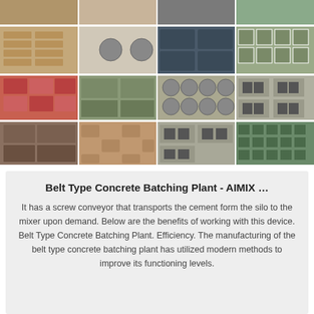[Figure (photo): Grid of 12 photos showing various concrete blocks, bricks, paving stones, roof tiles, and hollow blocks manufactured by concrete block making machines. Arranged in 3 rows of 4 images each.]
Belt Type Concrete Batching Plant - AIMIX …
It has a screw conveyor that transports the cement form the silo to the mixer upon demand. Below are the benefits of working with this device. Belt Type Concrete Batching Plant. Efficiency. The manufacturing of the belt type concrete batching plant has utilized modern methods to improve its functioning levels.